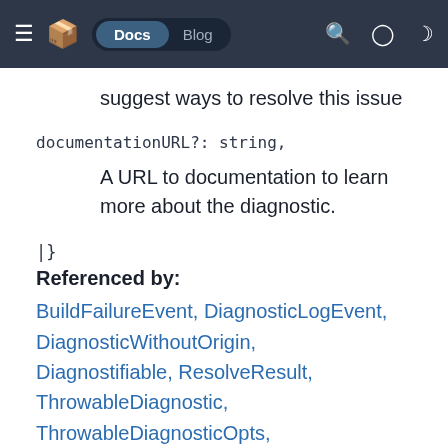≡ 📦 Docs Blog 🔍 ⊙ ☾
suggest ways to resolve this issue
documentationURL?: string,
A URL to documentation to learn more about the diagnostic.
|}
Referenced by:
BuildFailureEvent, DiagnosticLogEvent, DiagnosticWithoutOrigin, Diagnostifiable, ResolveResult, ThrowableDiagnostic, ThrowableDiagnosticOpts, ValidateResult, anyToDiagnostic,